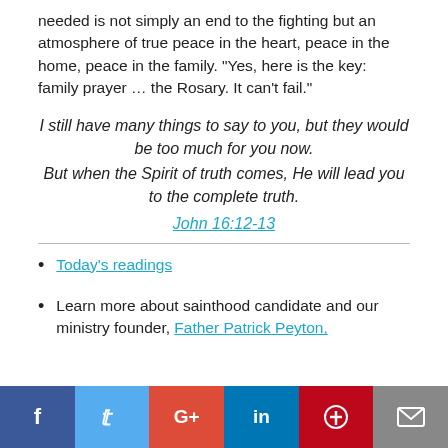needed is not simply an end to the fighting but an atmosphere of true peace in the heart, peace in the home, peace in the family. "Yes, here is the key: family prayer … the Rosary. It can't fail."
I still have many things to say to you, but they would be too much for you now. But when the Spirit of truth comes, He will lead you to the complete truth. John 16:12-13
Today's readings
Learn more about sainthood candidate and our ministry founder, Father Patrick Peyton,
[Figure (infographic): Social sharing bar with Facebook, Twitter, Google+, LinkedIn, Pinterest, and Email buttons]